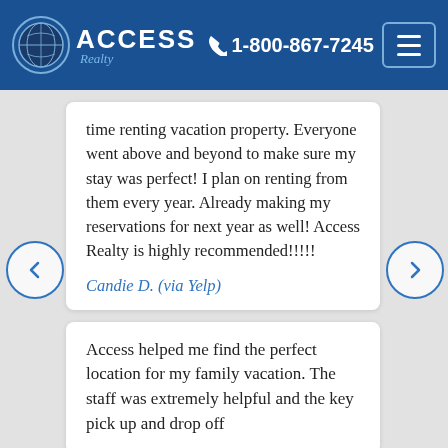[Figure (logo): Access Realty logo with globe icon and blue text on dark blue header]
📞 1-800-867-7245
time renting vacation property. Everyone went above and beyond to make sure my stay was perfect! I plan on renting from them every year. Already making my reservations for next year as well! Access Realty is highly recommended!!!!!
Candie D. (via Yelp)
Access helped me find the perfect location for my family vacation. The staff was extremely helpful and the key pick up and drop off